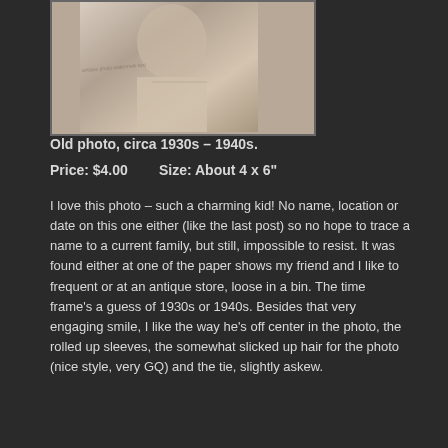[Figure (photo): Old black and white photo of a kid, circa 1930s-1940s, cropped showing torso area with rolled up sleeves and a tie]
Old photo, circa 1930s – 1940s.
Price:  $4.00        Size:  About 4 x 6"
I love this photo – such a charming kid! No name, location or date on this one either (like the last post) so no hope to trace a name to a current family, but still, impossible to resist. It was found either at one of the paper shows my friend and I like to frequent or at an antique store, loose in a bin. The time frame’s a guess of 1930s or 1940s. Besides that very engaging smile, I like the way he’s off center in the photo, the rolled up sleeves, the somewhat slicked up hair for the photo (nice style, very GQ) and the tie, slightly askew.